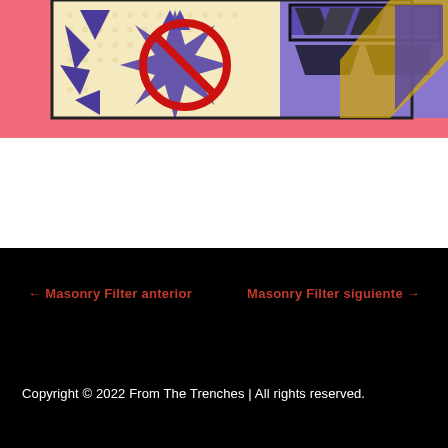[Figure (illustration): Comic book style illustration with pink/salmon background showing a pop-art graphic with purple explosion/star burst shapes, a red prohibition circle, and text in bold black outlined letters. A beige/cream panel with halftone dot pattern contains the purple graphic element. Purple and black angular shapes visible at top right.]
← Masonry Filter anterior
Masonry Filter siguiente →
Copyright © 2022 From The Trenches | All rights reserved.